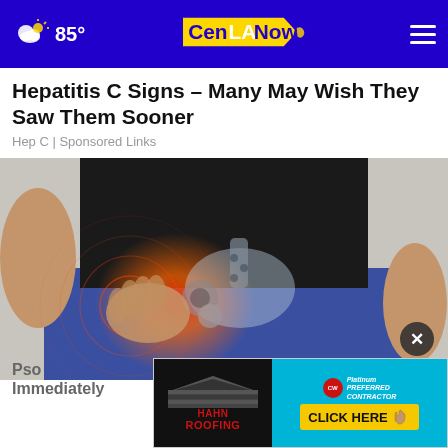85° CenLANow [weather icon] [hamburger menu]
Hepatitis C Signs – Many May Wish They Saw Them Sooner
Hep C | Sponsored Links
[Figure (photo): Medical illustration showing a person holding their hip area with a transparent anatomical view of the hip joint and pelvis highlighted in red/orange, suggesting hip pain. The person is wearing blue pants and a black shirt.]
[Figure (illustration): Close button (X) overlay on the main image]
Pso... Immediately
[Figure (other): Advertisement banner: Hahn Roofing (left side with dark background showing roof and logo) and a cyan/blue right side with Platinum Preferred Contractor badge and yellow CLICK HERE button with hand cursor icon]